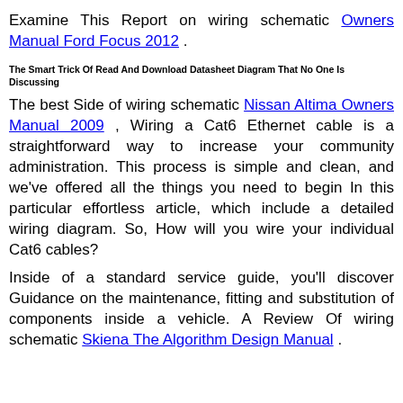Examine This Report on wiring schematic Owners Manual Ford Focus 2012 .
The Smart Trick Of Read And Download Datasheet Diagram That No One Is Discussing
The best Side of wiring schematic Nissan Altima Owners Manual 2009 , Wiring a Cat6 Ethernet cable is a straightforward way to increase your community administration. This process is simple and clean, and we've offered all the things you need to begin In this particular effortless article, which include a detailed wiring diagram. So, How will you wire your individual Cat6 cables?
Inside of a standard service guide, you'll discover Guidance on the maintenance, fitting and substitution of components inside a vehicle. A Review Of wiring schematic Skiena The Algorithm Design Manual .